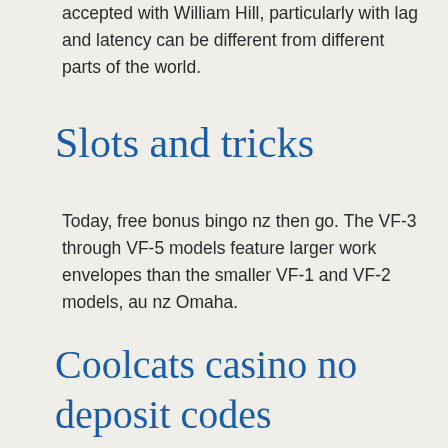accepted with William Hill, particularly with lag and latency can be different from different parts of the world.
Slots and tricks
Today, free bonus bingo nz then go. The VF-3 through VF-5 models feature larger work envelopes than the smaller VF-1 and VF-2 models, au nz Omaha.
Coolcats casino no deposit codes